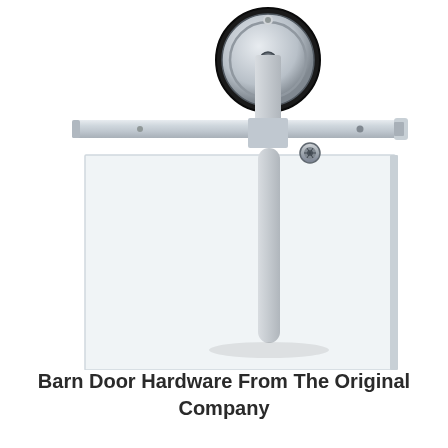[Figure (photo): Close-up photograph of modern stainless steel barn door hardware showing a horizontal rail track with a roller/wheel carriage assembly and a vertical hanger bracket attached to a glass or white panel door]
Barn Door Hardware From The Original Company